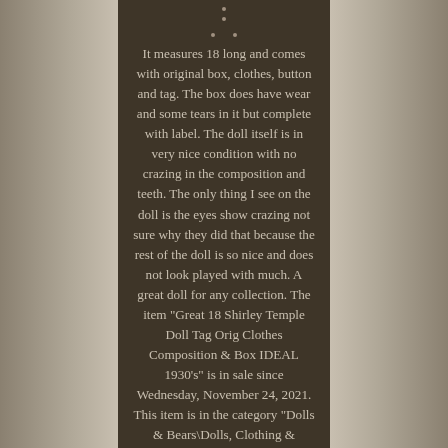It measures 18 long and comes with original box, clothes, button and tag. The box does have wear and some tears in it but complete with label. The doll itself is in very nice condition with no crazing in the composition and teeth. The only thing I see on the doll is the eyes show crazing not sure why they did that because the rest of the doll is so nice and does not look played with much. A great doll for any collection. The item "Great 18 Shirley Temple Doll Tag Orig Clothes Composition & Box IDEAL 1930's" is in sale since Wednesday, November 24, 2021. This item is in the category "Dolls & Bears\Dolls, Clothing & Accessories\Dolls & Doll Playsets".
The seller is "more4les$" and is located in Williamsport, Pennsylvania. This item can be shipped to United States.